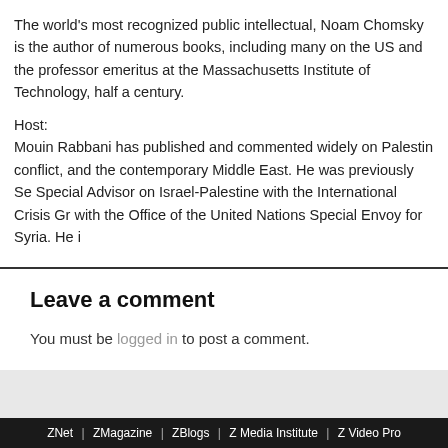The world's most recognized public intellectual, Noam Chomsky is the author of numerous books, including many on the US and the professor emeritus at the Massachusetts Institute of Technology, half a century.
Host:
Mouin Rabbani has published and commented widely on Palestine conflict, and the contemporary Middle East. He was previously Special Advisor on Israel-Palestine with the International Crisis Group with the Office of the United Nations Special Envoy for Syria. He is
Leave a comment
You must be logged in to post a comment.
ZNet | ZMagazine | ZBlogs | Z Media Institute | Z Video Pro